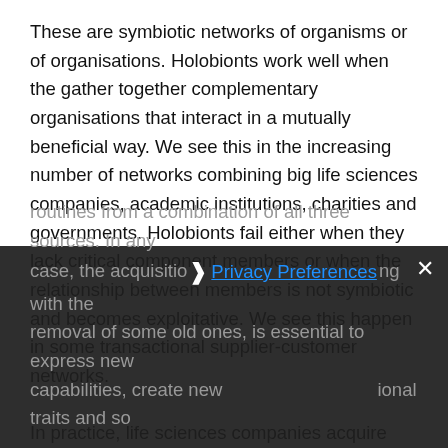These are symbiotic networks of organisms or of organisations. Holobionts work well when the gather together complementary organisations that interact in a mutually beneficial way. We see this in the increasing number of networks combining big life sciences companies, academic institutions, charities and governments. Holobionts fail either when they lack critical component members or when the relationship between members is not symbiotic and becomes exploitative. We see this happen in some transactional supplier-customer networks.
In practice, life sciences companies acquire their new routines from a combination of all three sources. In any case, the acquisition of new routines, along with the removal of some old ones, is essential to express new capabilities, create new organisational traits and so transform the business capital.
[Figure (screenshot): Privacy preferences cookie consent overlay with a close (X) button, a chevron icon, 'Privacy Preferences' link in blue, 'I Agree' blue button, overlaid on partially visible text.]